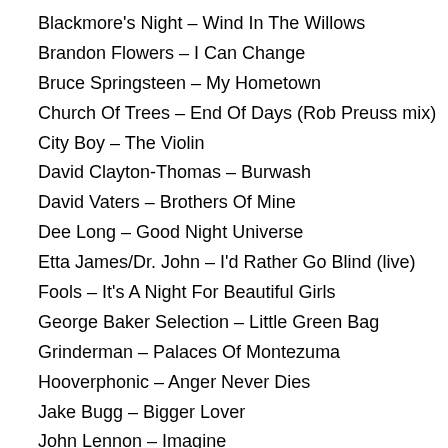Blackmore's Night – Wind In The Willows
Brandon Flowers – I Can Change
Bruce Springsteen – My Hometown
Church Of Trees – End Of Days (Rob Preuss mix)
City Boy – The Violin
David Clayton-Thomas – Burwash
David Vaters – Brothers Of Mine
Dee Long – Good Night Universe
Etta James/Dr. John – I'd Rather Go Blind (live)
Fools – It's A Night For Beautiful Girls
George Baker Selection – Little Green Bag
Grinderman – Palaces Of Montezuma
Hooverphonic – Anger Never Dies
Jake Bugg – Bigger Lover
John Lennon – Imagine
Jools Holland & His Rhythm & Blues Orchestra feat. Eric